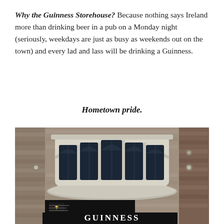Why the Guinness Storehouse? Because nothing says Ireland more than drinking beer in a pub on a Monday night (seriously, weekdays are just as busy as weekends out on the town) and every lad and lass will be drinking a Guinness.
Hometown pride.
[Figure (photo): Exterior photograph of the Guinness Storehouse building in Dublin, showing a distinctive curved stone bay window facade with arched windows, brick walls, and a black Guinness sign at the bottom with white lettering beginning 'GUINNESS']